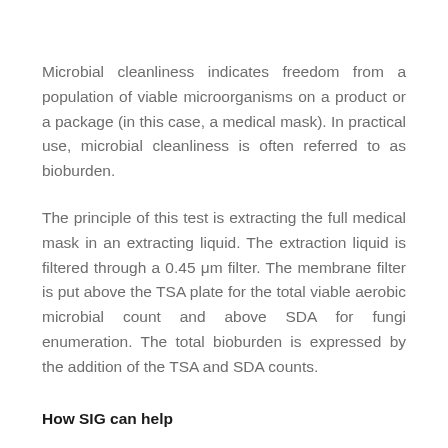Microbial cleanliness indicates freedom from a population of viable microorganisms on a product or a package (in this case, a medical mask). In practical use, microbial cleanliness is often referred to as bioburden.
The principle of this test is extracting the full medical mask in an extracting liquid. The extraction liquid is filtered through a 0.45 μm filter. The membrane filter is put above the TSA plate for the total viable aerobic microbial count and above SDA for fungi enumeration. The total bioburden is expressed by the addition of the TSA and SDA counts.
How SIG can help
SIG Laboratory can perform analysis of microbial